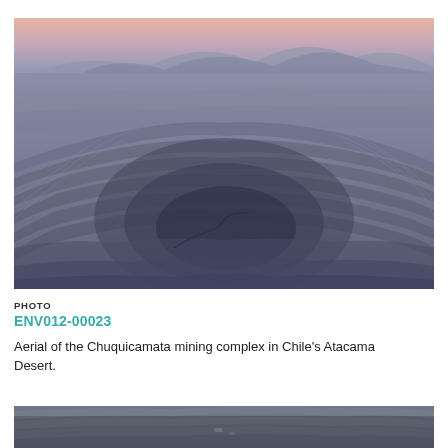[Figure (photo): Aerial photograph of the Chuquicamata open-pit mining complex in Chile's Atacama Desert at dusk, showing concentric terraced layers of the pit with mountains and pinkish sky in the background.]
PHOTO
ENV012-00023
Aerial of the Chuquicamata mining complex in Chile's Atacama Desert.
[Figure (photo): Partial aerial photograph of a mining complex, bottom of page, showing terraced pit layers.]